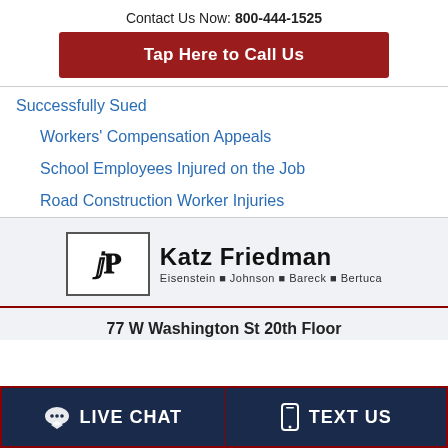Contact Us Now: 800-444-1525
Tap Here to Call Us
Successfully Sued
Workers' Compensation Appeals
School Employees Injured on the Job
Road Construction Worker Injuries
[Figure (logo): Katz Friedman law firm logo with KF monogram in box and text 'Katz Friedman Eisenstein • Johnson • Bareck • Bertuca']
77 W Washington St 20th Floor
LIVE CHAT  TEXT US